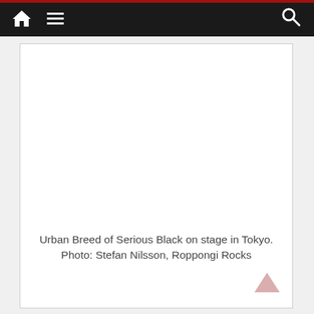Navigation bar with home, menu, and search icons
[Figure (photo): Empty white photo placeholder area for Urban Breed of Serious Black on stage in Tokyo]
Urban Breed of Serious Black on stage in Tokyo. Photo: Stefan Nilsson, Roppongi Rocks